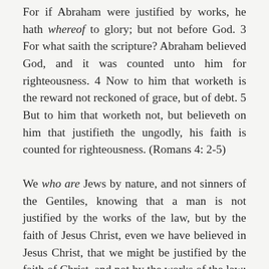For if Abraham were justified by works, he hath whereof to glory; but not before God. 3 For what saith the scripture? Abraham believed God, and it was counted unto him for righteousness. 4 Now to him that worketh is the reward not reckoned of grace, but of debt. 5 But to him that worketh not, but believeth on him that justifieth the ungodly, his faith is counted for righteousness. (Romans 4: 2-5)
We who are Jews by nature, and not sinners of the Gentiles, knowing that a man is not justified by the works of the law, but by the faith of Jesus Christ, even we have believed in Jesus Christ, that we might be justified by the faith of Christ, and not by the works of the law: for by the works of the law shall no flesh be justified. But if,